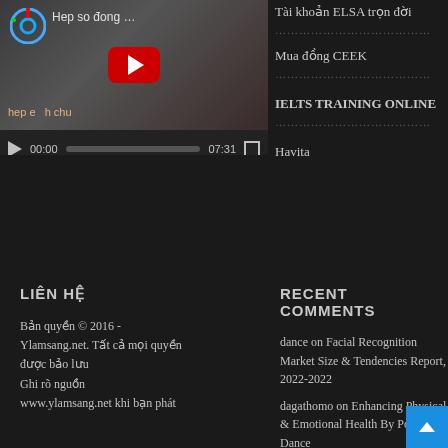[Figure (screenshot): YouTube video thumbnail showing 'Hep so dong ...' with play button, controls showing 00:00 / 07:31]
Tài khoản ELSA trọn đời
Mua đồng CEEK
IELTS TRAINING ONLINE
Havita
LIÊN HỆ
RECENT COMMENTS
Bản quyền © 2016 - Ylamsang.net. Tất cả mọi quyền được bảo lưu
Ghi rõ nguồn
www.ylamsang.net khi bạn phát
dance on Facial Recognition Market Size & Tendencies Report, 2022-2022
dagathomo on Enhancing Physical & Emotional Health By Pole Dance